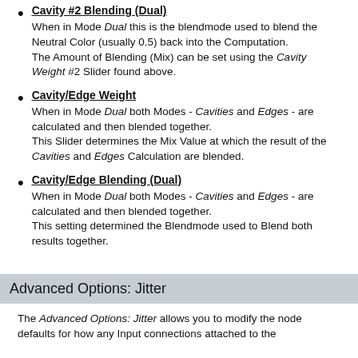Cavity #2 Blending (Dual)
When in Mode Dual this is the blendmode used to blend the Neutral Color (usually 0.5) back into the Computation.
The Amount of Blending (Mix) can be set using the Cavity Weight #2 Slider found above.
Cavity/Edge Weight
When in Mode Dual both Modes - Cavities and Edges - are calculated and then blended together.
This Slider determines the Mix Value at which the result of the Cavities and Edges Calculation are blended.
Cavity/Edge Blending (Dual)
When in Mode Dual both Modes - Cavities and Edges - are calculated and then blended together.
This setting determined the Blendmode used to Blend both results together.
Advanced Options: Jitter
The Advanced Options: Jitter allows you to modify the node defaults for how any Input connections attached to the